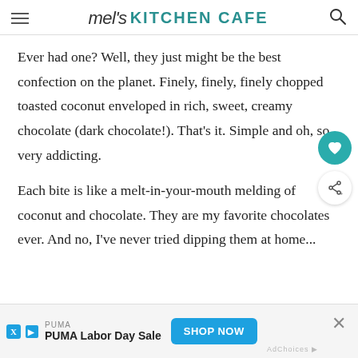mel's KITCHEN CAFE
Ever had one? Well, they just might be the best confection on the planet. Finely, finely, finely chopped toasted coconut enveloped in rich, sweet, creamy chocolate (dark chocolate!). That's it. Simple and oh, so very addicting.
Each bite is like a melt-in-your-mouth melding of coconut and chocolate. They are my favorite chocolates ever. And no, I've never tried dipping them at home...
[Figure (other): Advertisement banner: PUMA Labor Day Sale with SHOP NOW button]